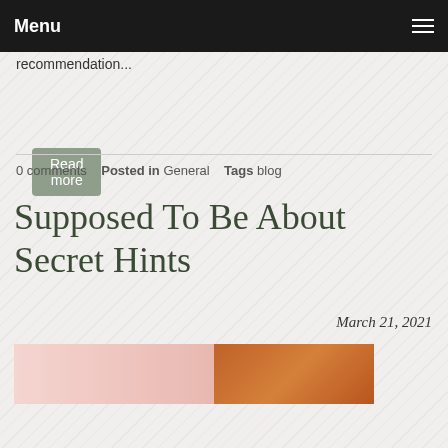Menu
recommendation...
Read more
0 comments   Posted in General   Tags blog
Supposed To Be About Secret Hints
March 21, 2021
[Figure (photo): Interior room photo showing pink/light walls on the left and wooden cabinet/furniture on the right]